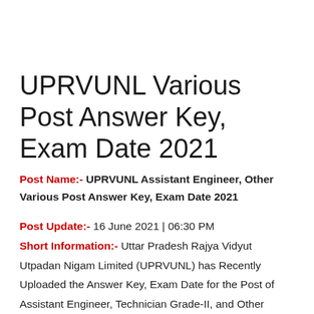UPRVUNL Various Post Answer Key, Exam Date 2021
Post Name:- UPRVUNL Assistant Engineer, Other Various Post Answer Key, Exam Date 2021
Post Update:- 16 June 2021 | 06:30 PM
Short Information:- Uttar Pradesh Rajya Vidyut Utpadan Nigam Limited (UPRVUNL) has Recently Uploaded the Answer Key, Exam Date for the Post of Assistant Engineer, Technician Grade-II, and Other Various 353 Post Recruitment 2020. Those Candidates Who have Appeared in this Recruitment Exam can Download Answer Key.